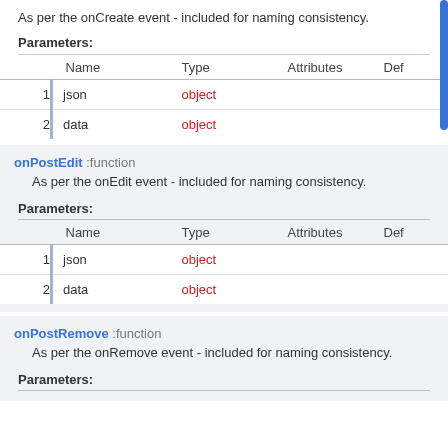As per the onCreate event - included for naming consistency.
Parameters:
|  | Name | Type | Attributes | Def |
| --- | --- | --- | --- | --- |
| 1 | json | object |  |  |
| 2 | data | object |  |  |
onPostEdit :function
As per the onEdit event - included for naming consistency.
Parameters:
|  | Name | Type | Attributes | Def |
| --- | --- | --- | --- | --- |
| 1 | json | object |  |  |
| 2 | data | object |  |  |
onPostRemove :function
As per the onRemove event - included for naming consistency.
Parameters: